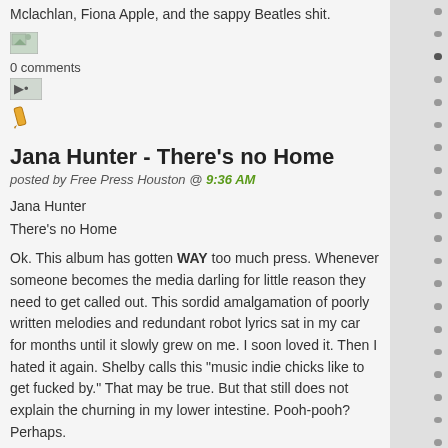Mclachlan, Fiona Apple, and the sappy Beatles shit.
[Figure (screenshot): Small image icon (broken/placeholder)]
0 comments
[Figure (screenshot): Arrow/share icon button]
[Figure (illustration): Pencil/edit icon]
Jana Hunter - There's no Home
posted by Free Press Houston @ 9:36 AM
Jana Hunter
There's no Home
Ok. This album has gotten WAY too much press. Whenever someone becomes the media darling for little reason they need to get called out. This sordid amalgamation of poorly written melodies and redundant robot lyrics sat in my car for months until it slowly grew on me. I soon loved it. Then I hated it again. Shelby calls this "music indie chicks like to get fucked by." That may be true. But that still does not explain the churning in my lower intestine. Pooh-pooh? Perhaps.
[Figure (screenshot): Small image icon (broken/placeholder)]
6 comments
[Figure (screenshot): Arrow/share icon button]
[Figure (illustration): Pencil/edit icon]
Riff Tiffs